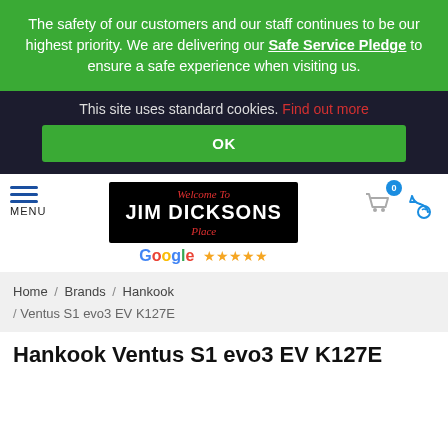The safety of our customers and our staff continues to be our highest priority. We are delivering our Safe Service Pledge to ensure a safe experience when visiting us.
This site uses standard cookies. Find out more
OK
[Figure (logo): Jim Dicksons Place logo on black background with red italic 'Welcome To' text, white bold 'JIM DICKSONS' text, and red italic 'Place' text. Below is Google five star rating.]
Home / Brands / Hankook / Ventus S1 evo3 EV K127E
Hankook Ventus S1 evo3 EV K127E